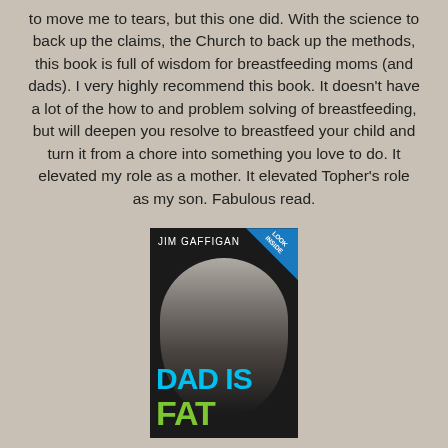to move me to tears, but this one did. With the science to back up the claims, the Church to back up the methods, this book is full of wisdom for breastfeeding moms (and dads). I very highly recommend this book. It doesn't have a lot of the how to and problem solving of breastfeeding, but will deepen you resolve to breastfeed your child and turn it from a chore into something you love to do. It elevated my role as a mother. It elevated Topher's role as my son. Fabulous read.
[Figure (photo): Book cover of 'Dad Is Fat' by Jim Gaffigan, showing a black and white photo of the author (a heavyset man in a suit) with the title written in blue and green graffiti-style text. A 'Look Inside' badge appears in the upper right corner.]